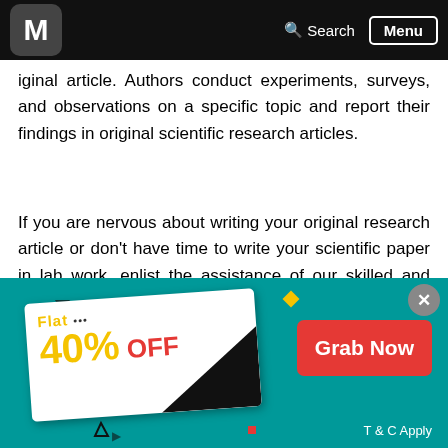M  Search  Menu
iginal article. Authors conduct experiments, surveys, and observations on a specific topic and report their findings in original scientific research articles.
If you are nervous about writing your original research article or don't have time to write your scientific paper in lab work, enlist the assistance of our skilled and experienced scientific paper writing help online experts.
Review Article Writing
[Figure (infographic): Promotional banner with teal background showing 'Flat 40% OFF' discount card with decorative elements, a red 'Grab Now' button, a grey close button, and 'T & C Apply' text.]